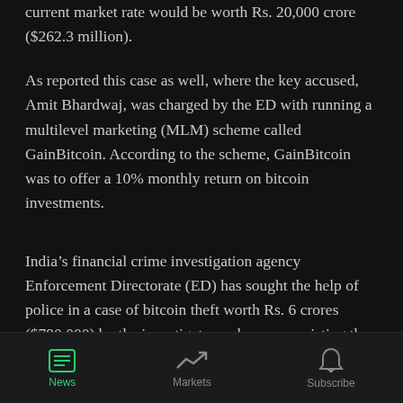current market rate would be worth Rs. 20,000 crore ($262.3 million).
As reported this case as well, where the key accused, Amit Bhardwaj, was charged by the ED with running a multilevel marketing (MLM) scheme called GainBitcoin. According to the scheme, GainBitcoin was to offer a 10% monthly return on bitcoin investments.
India's financial crime investigation agency Enforcement Directorate (ED) has sought the help of police in a case of bitcoin theft worth Rs. 6 crores ($790,000) by the investigators who were assisting the police in a crypto fraud case worth over $260 million.
News | Markets | Subscribe